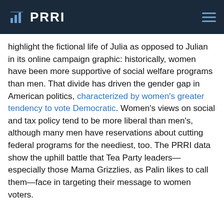PRRI
highlight the fictional life of Julia as opposed to Julian in its online campaign graphic: historically, women have been more supportive of social welfare programs than men. That divide has driven the gender gap in American politics, characterized by women's greater tendency to vote Democratic. Women's views on social and tax policy tend to be more liberal than men's, although many men have reservations about cutting federal programs for the neediest, too. The PRRI data show the uphill battle that Tea Party leaders—especially those Mama Grizzlies, as Palin likes to call them—face in targeting their message to women voters.